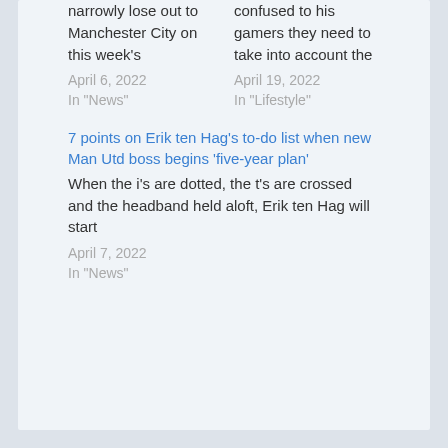narrowly lose out to Manchester City on this week's
April 6, 2022
In "News"
confused to his gamers they need to take into account the
April 19, 2022
In "Lifestyle"
7 points on Erik ten Hag's to-do list when new Man Utd boss begins 'five-year plan'
When the i's are dotted, the t's are crossed and the headband held aloft, Erik ten Hag will start
April 7, 2022
In "News"